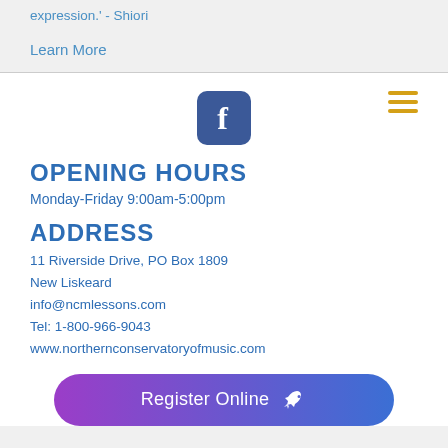expression.' - Shiori
Learn More
[Figure (logo): Facebook logo icon (blue rounded square with white f)]
OPENING HOURS
Monday-Friday 9:00am-5:00pm
ADDRESS
11 Riverside Drive, PO Box 1809
New Liskeard
info@ncmlessons.com
Tel: 1-800-966-9043
www.northernconservatoryofmusic.com
[Figure (infographic): Register Online button with rocket icon, gradient purple to blue]